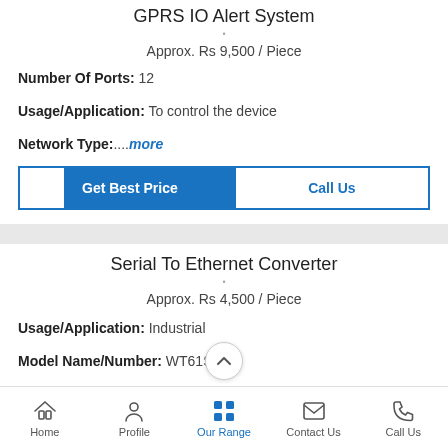GPRS IO Alert System
Approx. Rs 9,500 / Piece
Number Of Ports: 12
Usage/Application: To control the device
Network Type:....more
Serial To Ethernet Converter
Approx. Rs 4,500 / Piece
Usage/Application: Industrial
Model Name/Number: WT61S
Number Of Ports/Pins:...more
Home | Profile | Our Range | Contact Us | Call Us